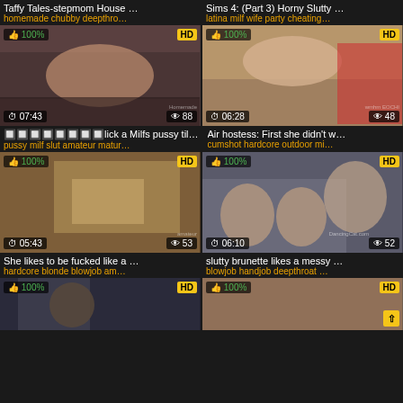[Figure (screenshot): Video thumbnail grid - adult video website with 6 video cards shown in 2-column layout]
Taffy Tales-stepmom House …
homemade chubby deepthro…
Sims 4: (Part 3) Horny Slutty …
latina milf wife party cheating…
🔲🔲🔲🔲🔲🔲🔲🔲lick a Milfs pussy til…
pussy milf slut amateur matur…
Air hostess: First she didn't w…
cumshot hardcore outdoor mi…
She likes to be fucked like a …
hardcore blonde blowjob am…
slutty brunette likes a messy …
blowjob handjob deepthroat …